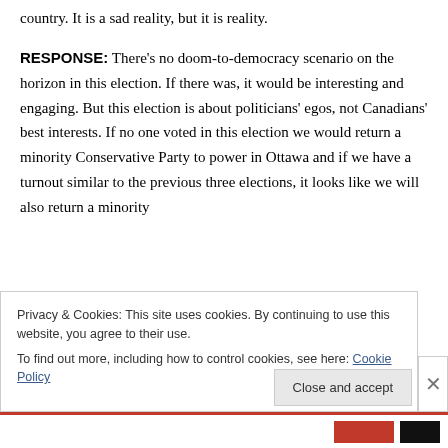country. It is a sad reality, but it is reality.
RESPONSE: There’s no doom-to-democracy scenario on the horizon in this election. If there was, it would be interesting and engaging. But this election is about politicians’ egos, not Canadians’ best interests. If no one voted in this election we would return a minority Conservative Party to power in Ottawa and if we have a turnout similar to the previous three elections, it looks like we will also return a minority
Privacy & Cookies: This site uses cookies. By continuing to use this website, you agree to their use.
To find out more, including how to control cookies, see here: Cookie Policy
Close and accept